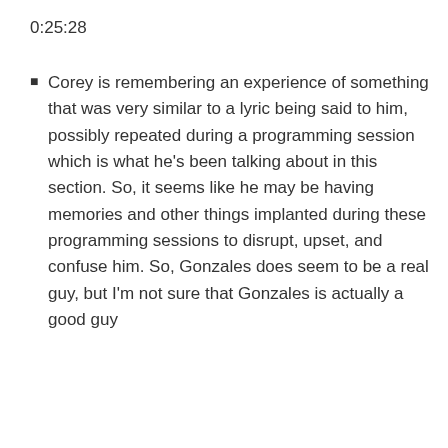0:25:28
Corey is remembering an experience of something that was very similar to a lyric being said to him, possibly repeated during a programming session which is what he's been talking about in this section. So, it seems like he may be having memories and other things implanted during these programming sessions to disrupt, upset, and confuse him. So, Gonzales does seem to be a real guy, but I'm not sure that Gonzales is actually a good guy